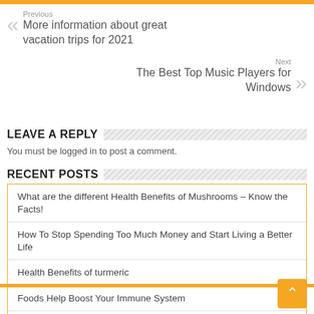Previous
More information about great vacation trips for 2021
Next
The Best Top Music Players for Windows
LEAVE A REPLY
You must be logged in to post a comment.
RECENT POSTS
What are the different Health Benefits of Mushrooms – Know the Facts!
How To Stop Spending Too Much Money and Start Living a Better Life
Health Benefits of turmeric
Foods Help Boost Your Immune System
Fiverr Gig Ideas: How To Make Money From Home